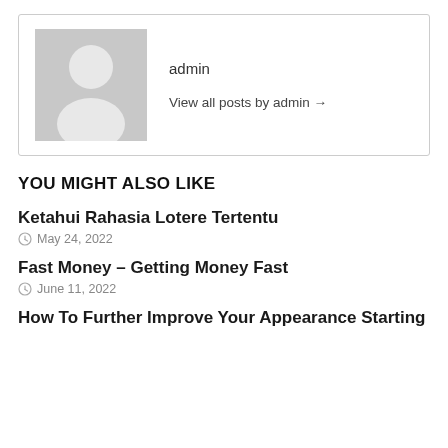[Figure (illustration): Author profile box with grey avatar placeholder image showing a silhouette of a person, username 'admin', and a 'View all posts by admin →' link]
admin
View all posts by admin →
YOU MIGHT ALSO LIKE
Ketahui Rahasia Lotere Tertentu
May 24, 2022
Fast Money – Getting Money Fast
June 11, 2022
How To Further Improve Your Appearance Starting